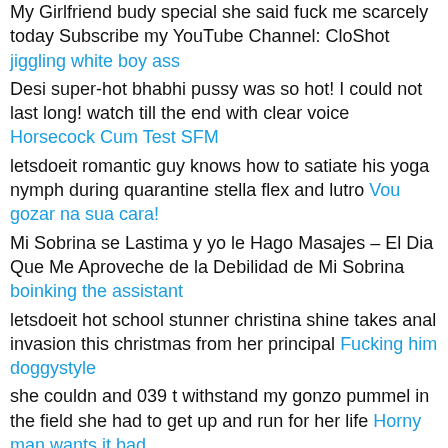My Girlfriend budy special she said fuck me scarcely today Subscribe my YouTube Channel: CloShot jiggling white boy ass
Desi super-hot bhabhi pussy was so hot! I could not last long! watch till the end with clear voice Horsecock Cum Test SFM
letsdoeit romantic guy knows how to satiate his yoga nymph during quarantine stella flex and lutro Vou gozar na sua cara!
Mi Sobrina se Lastima y yo le Hago Masajes – El Dia Que Me Aproveche de la Debilidad de Mi Sobrina boinking the assistant
letsdoeit hot school stunner christina shine takes anal invasion this christmas from her principal Fucking him doggystyle
she couldn and 039 t withstand my gonzo pummel in the field she had to get up and run for her life Horny man wants it bad
indian step mom horny lily having fuck-fest with her s